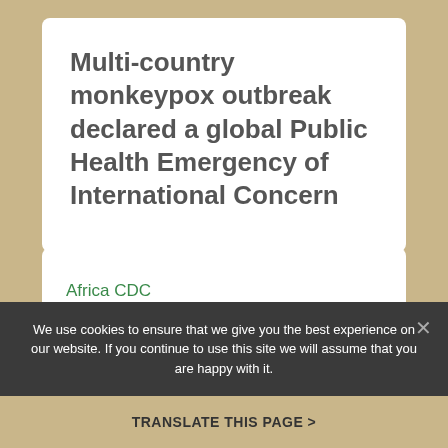Multi-country monkeypox outbreak declared a global Public Health Emergency of International Concern
[Figure (logo): Africa CDC branding with text 'Africa CDC Saving Lives and Livelihoods']
We use cookies to ensure that we give you the best experience on our website. If you continue to use this site we will assume that you are happy with it.
TRANSLATE THIS PAGE >